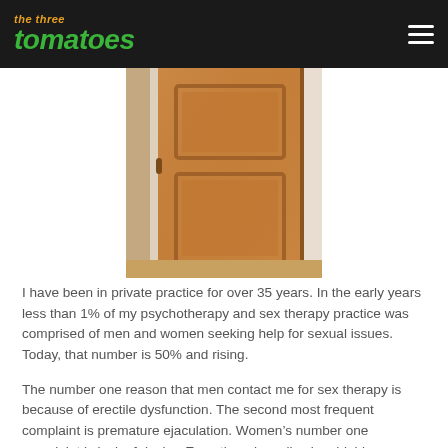the three tomatoes
[Figure (photo): A wooden interior door, partially open, with warm brown tones and panel detailing, seen from the side. Hardwood floor visible at the bottom.]
I have been in private practice for over 35 years.  In the early years less than 1% of my psychotherapy and sex therapy practice was comprised of men and women seeking help for sexual issues.  Today, that number is 50% and rising.
The number one reason that men contact me for sex therapy is because of erectile dysfunction.  The second most frequent complaint is premature ejaculation. Women's number one complaint is lack of desire.  Even though we live in a highly sex-charged society in which information is readily available, the reality